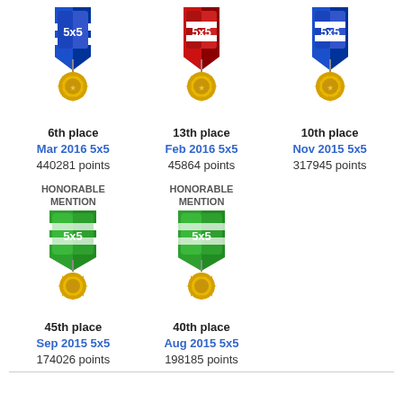[Figure (illustration): Blue/gold 5x5 medal - 6th place Mar 2016]
[Figure (illustration): Red/gold 5x5 medal - 13th place Feb 2016]
[Figure (illustration): Blue/gold 5x5 medal - 10th place Nov 2015]
6th place
Mar 2016 5x5
440281 points
13th place
Feb 2016 5x5
45864 points
10th place
Nov 2015 5x5
317945 points
HONORABLE MENTION
HONORABLE MENTION
[Figure (illustration): Green/gold 5x5 medal - honorable mention Sep 2015]
[Figure (illustration): Green/gold 5x5 medal - honorable mention Aug 2015]
45th place
Sep 2015 5x5
174026 points
40th place
Aug 2015 5x5
198185 points